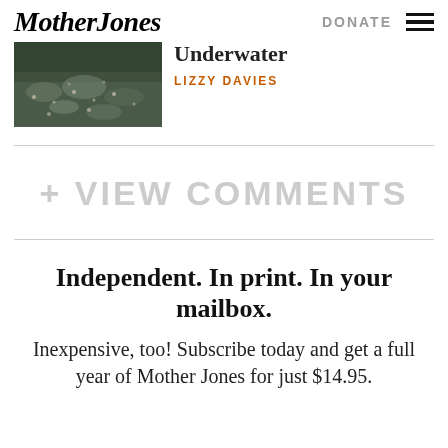Mother Jones
DONATE
[Figure (photo): Aerial or overhead photo of debris or birds floating in dark water]
Underwater
LIZZY DAVIES
+ VIEW COMMENTS
Independent. In print. In your mailbox.
Inexpensive, too! Subscribe today and get a full year of Mother Jones for just $14.95.